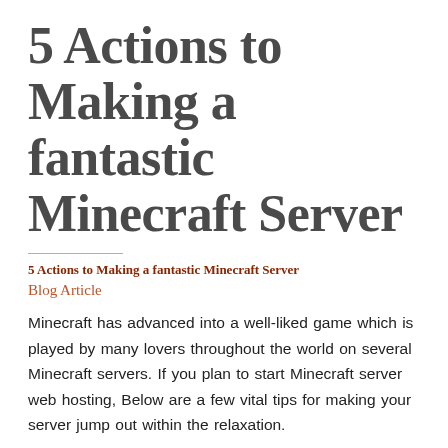5 Actions to Making a fantastic Minecraft Server
5 Actions to Making a fantastic Minecraft Server
Blog Article
Minecraft has advanced into a well-liked game which is played by many lovers throughout the world on several Minecraft servers. If you plan to start Minecraft server web hosting, Below are a few vital tips for making your server jump out within the relaxation.
Establish a fascinating concept